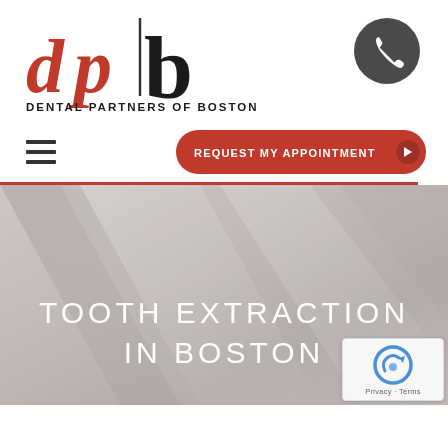[Figure (logo): Dental Partners of Boston logo with red 'dpb' letters and black 'b', with tagline 'Dental Partners of Boston' in small caps]
[Figure (illustration): Dark gray circle with white phone handset icon]
[Figure (illustration): Hamburger menu icon (three horizontal lines)]
[Figure (illustration): Red rounded rectangle button with white text 'REQUEST MY APPOINTMENT' and right arrow]
[Figure (photo): Hero banner with pale gray/beige abstract background, containing large white text 'TOOTH EXTRACTION IN BOSTON']
TOOTH EXTRACTION IN BOSTON
[Figure (illustration): reCAPTCHA badge in lower right corner showing reCAPTCHA logo and 'Privacy · Terms' text]